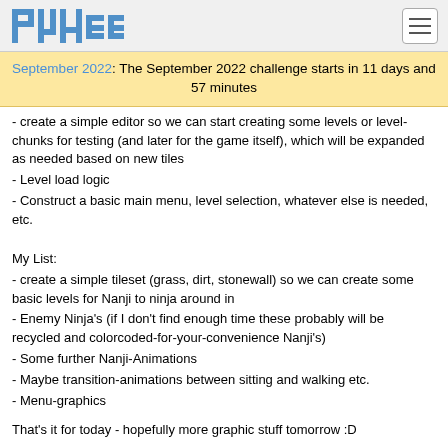PyWeek logo and navigation
September 2022: The September 2022 challenge starts in 11 days and 57 minutes
- create a simple editor so we can start creating some levels or level-chunks for testing (and later for the game itself), which will be expanded as needed based on new tiles
- Level load logic
- Construct a basic main menu, level selection, whatever else is needed, etc.
My List:
- create a simple tileset (grass, dirt, stonewall) so we can create some basic levels for Nanji to ninja around in
- Enemy Ninja's (if I don't find enough time these probably will be recycled and colorcoded-for-your-convenience Nanji's)
- Some further Nanji-Animations
- Maybe transition-animations between sitting and walking etc.
- Menu-graphics
That's it for today - hopefully more graphic stuff tomorrow :D